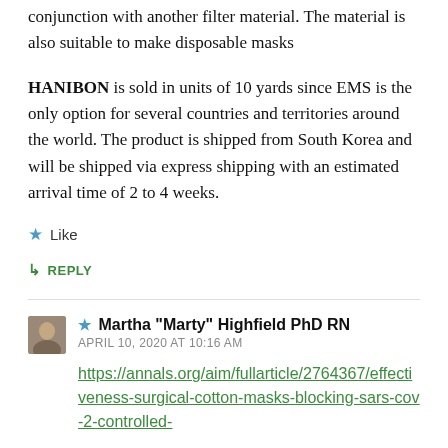conjunction with another filter material. The material is also suitable to make disposable masks
HANIBON is sold in units of 10 yards since EMS is the only option for several countries and territories around the world. The product is shipped from South Korea and will be shipped via express shipping with an estimated arrival time of 2 to 4 weeks.
★ Like
↳ REPLY
★ Martha "Marty" Highfield PhD RN
APRIL 10, 2020 AT 10:16 AM
https://annals.org/aim/fullarticle/2764367/effectiveness-surgical-cotton-masks-blocking-sars-cov-2-controlled-